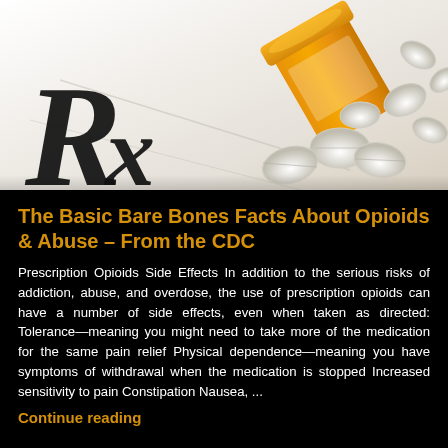[Figure (photo): Photo of a prescription paper with large Rx symbol on the left, and an orange pill bottle tipped over with white oval pills spilling out on the right, on a white background.]
The Basic Bare Bones Facts About Opioids & Abuse – From the CDC
Prescription Opioids Side Effects In addition to the serious risks of addiction, abuse, and overdose, the use of prescription opioids can have a number of side effects, even when taken as directed: Tolerance—meaning you might need to take more of the medication for the same pain relief Physical dependence—meaning you have symptoms of withdrawal when the medication is stopped Increased sensitivity to pain Constipation Nausea, ...
Continue reading